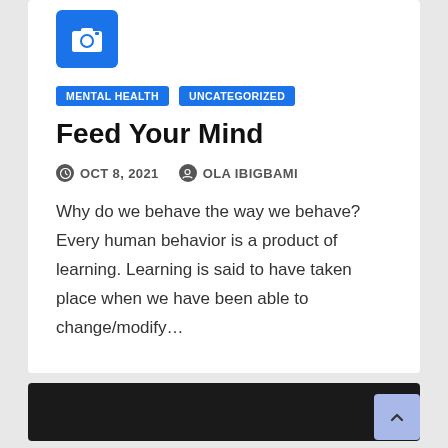[Figure (logo): Blue square camera icon]
MENTAL HEALTH   UNCATEGORIZED
Feed Your Mind
OCT 8, 2021   OLA IBIGBAMI
Why do we behave the way we behave? Every human behavior is a product of learning. Learning is said to have taken place when we have been able to change/modify...